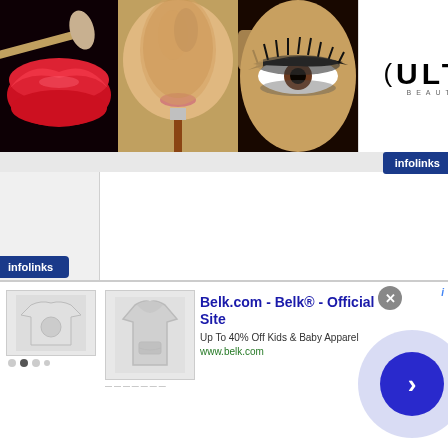[Figure (illustration): Top banner advertisement for Ulta Beauty showing: red lips with makeup brush, woman with makeup brush, close-up eye with dark makeup, Ulta Beauty logo on white background, woman face with dramatic eye makeup, and Shop Now button]
[Figure (logo): Infolinks badge in dark blue, top right]
[Figure (screenshot): Main webpage content area - mostly blank/white with left sidebar]
[Figure (logo): Infolinks badge in dark blue, bottom left]
[Figure (screenshot): Bottom advertisement for Belk.com showing clothing images, title 'Belk.com - Belk® - Official Site', description 'Up To 40% Off Kids & Baby Apparel', URL www.belk.com, close X button, navigation arrow button]
Belk.com - Belk® - Official Site
Up To 40% Off Kids & Baby Apparel
www.belk.com